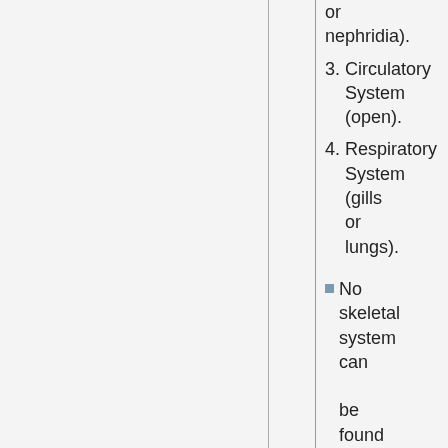or nephridia).
3. Circulatory System (open).
4. Respiratory System (gills or lungs).
No skeletal system can be found